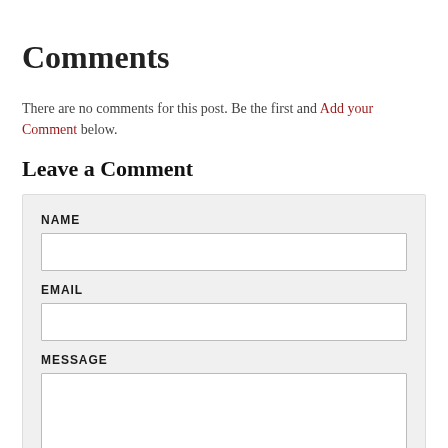Comments
There are no comments for this post. Be the first and Add your Comment below.
Leave a Comment
NAME
EMAIL
MESSAGE
POST COMMENT